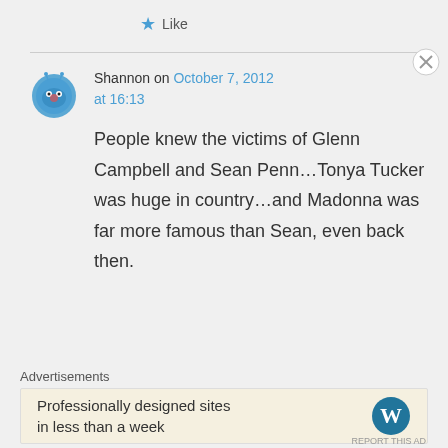Like
Shannon on October 7, 2012 at 16:13
People knew the victims of Glenn Campbell and Sean Penn…Tonya Tucker was huge in country…and Madonna was far more famous than Sean, even back then.
Advertisements
Professionally designed sites in less than a week